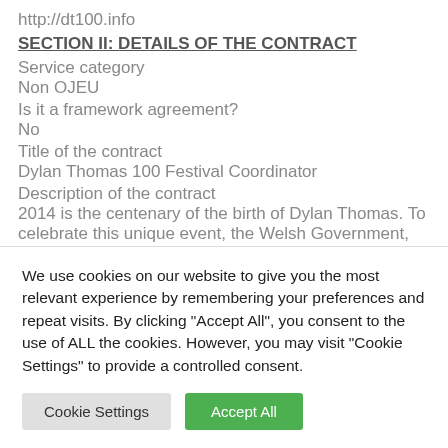http://dt100.info
SECTION II: DETAILS OF THE CONTRACT
Service category
Non OJEU
Is it a framework agreement?
No
Title of the contract
Dylan Thomas 100 Festival Coordinator
Description of the contract
2014 is the centenary of the birth of Dylan Thomas. To celebrate this unique event, the Welsh Government, Arts Council of Wales and...
We use cookies on our website to give you the most relevant experience by remembering your preferences and repeat visits. By clicking "Accept All", you consent to the use of ALL the cookies. However, you may visit "Cookie Settings" to provide a controlled consent.